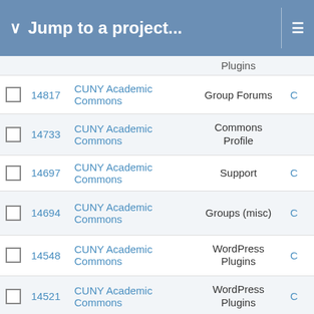Jump to a project...
|  | # | Project | Category |  |
| --- | --- | --- | --- | --- |
|  |  |  | Plugins |  |
| ☐ | 14817 | CUNY Academic Commons | Group Forums | C |
| ☐ | 14733 | CUNY Academic Commons | Commons Profile |  |
| ☐ | 14697 | CUNY Academic Commons | Support | C |
| ☐ | 14694 | CUNY Academic Commons | Groups (misc) | C |
| ☐ | 14548 | CUNY Academic Commons | WordPress Plugins | C |
| ☐ | 14521 | CUNY Academic Commons | WordPress Plugins | C |
| ☐ | 14468 | CUNY Academic Commons | WordPress Plugins | C |
| ☐ | 14452 | CUNY Academic Commons | Domain Mapping | CU |